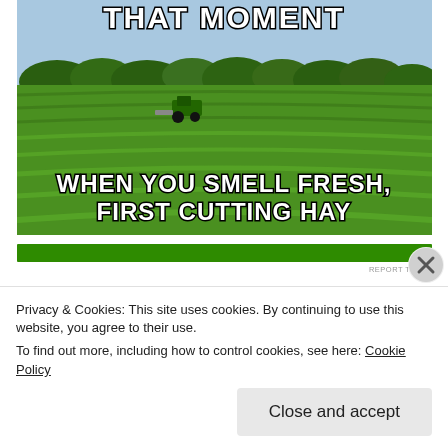[Figure (photo): Meme image showing a tractor cutting hay in a green farm field. Top text reads 'THAT MOMENT' and bottom text reads 'WHEN YOU SMELL FRESH, FIRST CUTTING HAY']
REPORT THIS AD
Privacy & Cookies: This site uses cookies. By continuing to use this website, you agree to their use.
To find out more, including how to control cookies, see here: Cookie Policy
Close and accept